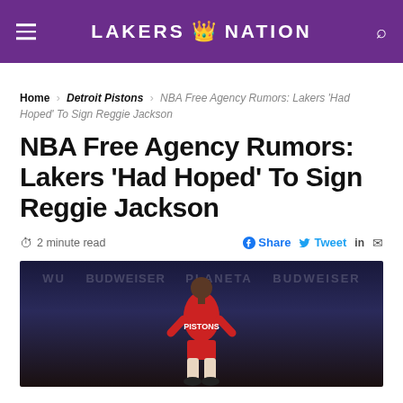LAKERS NATION
Home > Detroit Pistons > NBA Free Agency Rumors: Lakers 'Had Hoped' To Sign Reggie Jackson
NBA Free Agency Rumors: Lakers 'Had Hoped' To Sign Reggie Jackson
2 minute read
[Figure (photo): Basketball player in Detroit Pistons uniform standing on court in an arena]